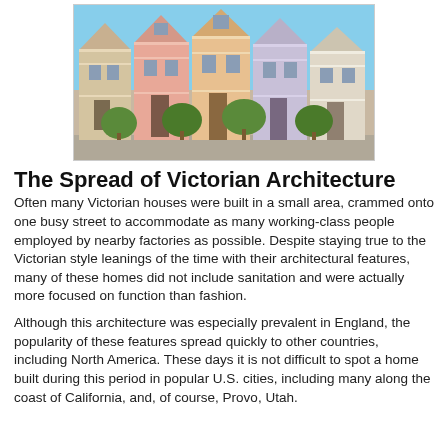[Figure (photo): Row of Victorian houses with ornate facades in pastel colors, with green trees in front against a blue sky — the Painted Ladies of San Francisco.]
The Spread of Victorian Architecture
Often many Victorian houses were built in a small area, crammed onto one busy street to accommodate as many working-class people employed by nearby factories as possible. Despite staying true to the Victorian style leanings of the time with their architectural features, many of these homes did not include sanitation and were actually more focused on function than fashion.
Although this architecture was especially prevalent in England, the popularity of these features spread quickly to other countries, including North America. These days it is not difficult to spot a home built during this period in popular U.S. cities, including many along the coast of California, and, of course, Provo, Utah.